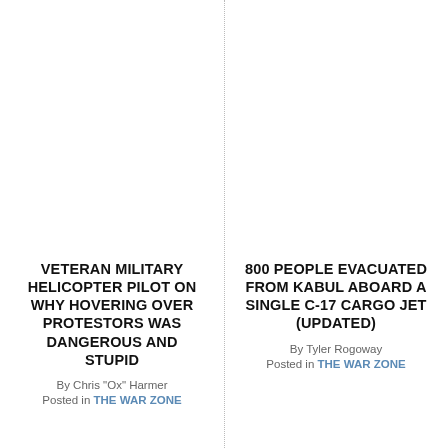VETERAN MILITARY HELICOPTER PILOT ON WHY HOVERING OVER PROTESTORS WAS DANGEROUS AND STUPID
By Chris "Ox" Harmer
Posted in THE WAR ZONE
800 PEOPLE EVACUATED FROM KABUL ABOARD A SINGLE C-17 CARGO JET (UPDATED)
By Tyler Rogoway
Posted in THE WAR ZONE